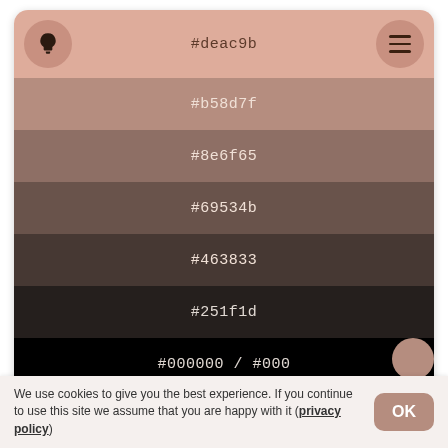[Figure (infographic): Color palette card showing 7 color swatches from light salmon (#deac9b) to black (#000000), with hex codes labeled on each row. Top row has a lightbulb icon circle on the left and hamburger menu circle on the right.]
Farben
Ähnliche Farben
Loop
We use cookies to give you the best experience. If you continue to use this site we assume that you are happy with it (privacy policy)